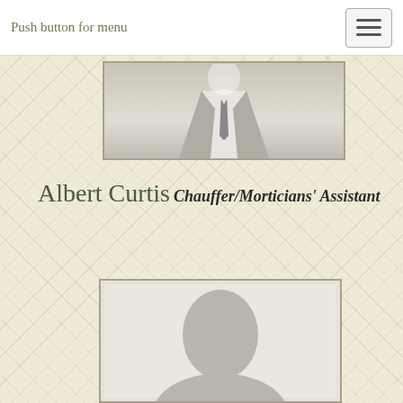Push button for menu
[Figure (photo): Partial view of a person in formal attire (suit), cropped at the top of the page]
Albert Curtis
Chauffer/Morticians' Assistant
[Figure (photo): Default placeholder portrait silhouette of a person, gray head and shoulders on light background]